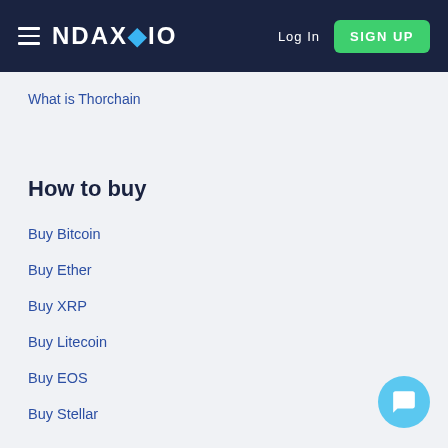NDAX.IO — Log In | SIGN UP
What is Thorchain
How to buy
Buy Bitcoin
Buy Ether
Buy XRP
Buy Litecoin
Buy EOS
Buy Stellar